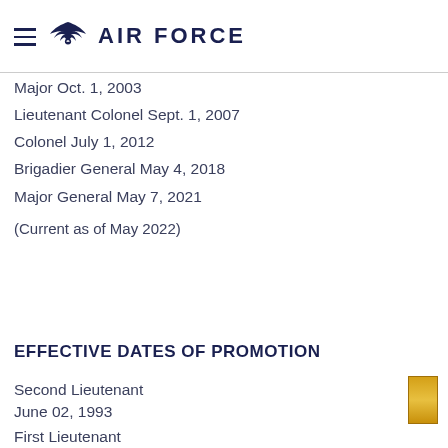AIR FORCE
Major Oct. 1, 2003
Lieutenant Colonel Sept. 1, 2007
Colonel July 1, 2012
Brigadier General May 4, 2018
Major General May 7, 2021
(Current as of May 2022)
EFFECTIVE DATES OF PROMOTION
Second Lieutenant
June 02, 1993
First Lieutenant